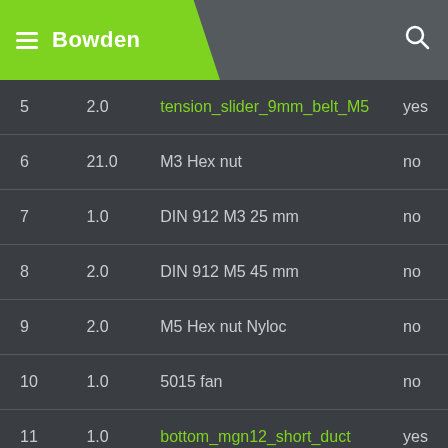Bowden
| # | Qty | Name | Print |
| --- | --- | --- | --- |
| 5 | 2.0 | tension_slider_9mm_belt_M5 | yes |
| 6 | 21.0 | M3 Hex nut | no |
| 7 | 1.0 | DIN 912 M3 25 mm | no |
| 8 | 2.0 | DIN 912 M5 45 mm | no |
| 9 | 2.0 | M5 Hex nut Nyloc | no |
| 10 | 1.0 | 5015 fan | no |
| 11 | 1.0 | bottom_mgn12_short_duct | yes |
| 12 | 5.0 | DIN 912 M3 12 mm | no |
| 13 | 2.0 | DIN 912 M3 35 mm | no |